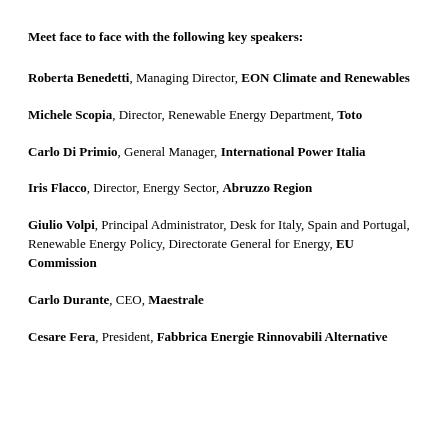Meet face to face with the following key speakers:
Roberta Benedetti, Managing Director, EON Climate and Renewables
Michele Scopia, Director, Renewable Energy Department, Toto
Carlo Di Primio, General Manager, International Power Italia
Iris Flacco, Director, Energy Sector, Abruzzo Region
Giulio Volpi, Principal Administrator, Desk for Italy, Spain and Portugal, Renewable Energy Policy, Directorate General for Energy, EU Commission
Carlo Durante, CEO, Maestrale
Cesare Fera, President, Fabbrica Energie Rinnovabili Alternative